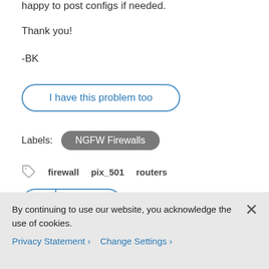happy to post configs if needed.
Thank you!
-BK
I have this problem too
Labels: NGFW Firewalls
firewall   pix_501   routers
0 Helpful
By continuing to use our website, you acknowledge the use of cookies.
Privacy Statement >   Change Settings >